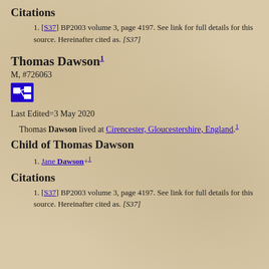Citations
[S37] BP2003 volume 3, page 4197. See link for full details for this source. Hereinafter cited as. [S37]
Thomas Dawson¹
M, #726063
Last Edited=3 May 2020
Thomas Dawson lived at Cirencester, Gloucestershire, England.¹
Child of Thomas Dawson
Jane Dawson+¹
Citations
[S37] BP2003 volume 3, page 4197. See link for full details for this source. Hereinafter cited as. [S37]